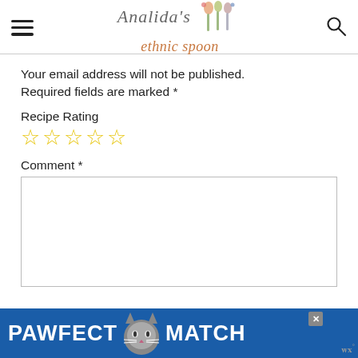Analida's ethnic spoon
Your email address will not be published. Required fields are marked *
Recipe Rating
☆☆☆☆☆
Comment *
[Figure (screenshot): PAWFECT MATCH advertisement banner with blue background and cat image]